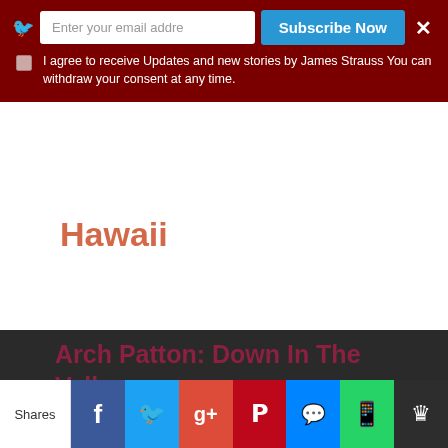[Figure (screenshot): Email subscription banner with dark red background, email input field, Subscribe Now button, close X button, and checkbox with consent text]
Hawaii
Arch Patton: Down In The Valley
[Figure (logo): James Strauss watermark/logo text in faded dark red]
A note to our visitors
This website has updated its privacy policy in compliance with EU Cookie legislation. Please visit this site to learn about...
[Figure (screenshot): Social sharing bar at bottom with Shares label, Facebook, Twitter, Google+, Pinterest, SMS, WhatsApp, and crown icon buttons]